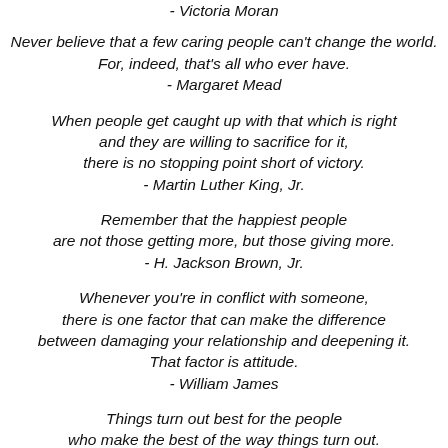- Victoria Moran
Never believe that a few caring people can't change the world.
For, indeed, that's all who ever have.
- Margaret Mead
When people get caught up with that which is right and they are willing to sacrifice for it, there is no stopping point short of victory.
- Martin Luther King, Jr.
Remember that the happiest people are not those getting more, but those giving more.
- H. Jackson Brown, Jr.
Whenever you're in conflict with someone, there is one factor that can make the difference between damaging your relationship and deepening it. That factor is attitude.
- William James
Things turn out best for the people who make the best of the way things turn out.
- Art Linkletter
You can choose to be peaceful right here and now...